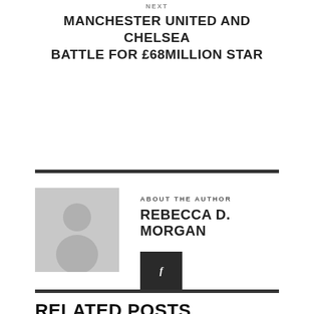NEXT
MANCHESTER UNITED AND CHELSEA BATTLE FOR £68MILLION STAR
ABOUT THE AUTHOR
REBECCA D. MORGAN
[Figure (illustration): Generic author avatar placeholder — grey silhouette of a person on a light grey background]
RELATED POSTS